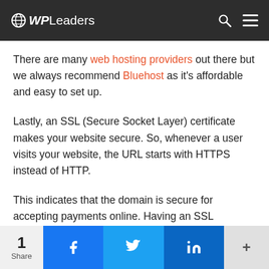WPLeaders
There are many web hosting providers out there but we always recommend Bluehost as it’s affordable and easy to set up.
Lastly, an SSL (Secure Socket Layer) certificate makes your website secure. So, whenever a user visits your website, the URL starts with HTTPS instead of HTTP.
This indicates that the domain is secure for accepting payments online. Having an SSL certificate is really important if you want to run an auction site.
1 Share • Facebook • Twitter • LinkedIn • +